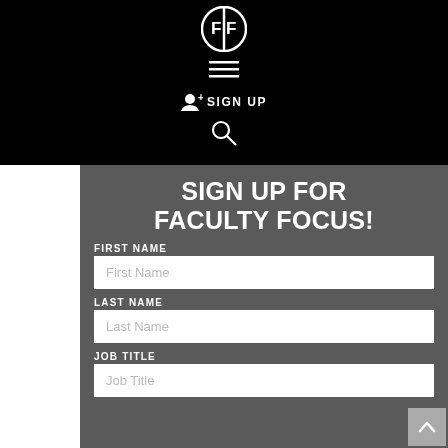[Figure (logo): Faculty Focus logo: circular icon with FF letters in white on black background]
[Figure (other): Hamburger menu icon (three horizontal lines) in white]
+ SIGN UP
[Figure (other): Search magnifying glass icon in white]
SIGN UP FOR FACULTY FOCUS!
FIRST NAME
First Name
LAST NAME
Last Name
JOB TITLE
Job Title
EMAIL